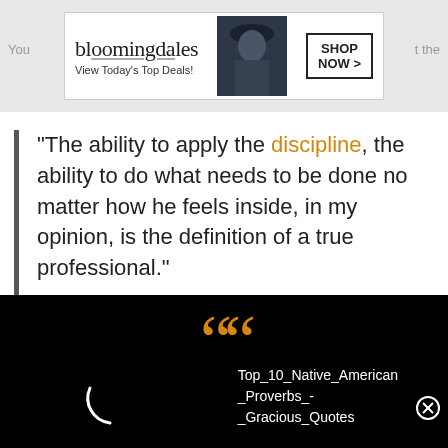[Figure (screenshot): Bloomingdale's advertisement banner: logo with 'bloomingdales', tagline 'View Today's Top Deals!', model photo, and 'SHOP NOW >' button. Gray sidebar text 'You' on left and 'the' on right.]
“The ability to apply the discipline, the ability to do what needs to be done no matter how he feels inside, in my opinion, is the definition of a true professional.”

Mike Tyson
[Figure (screenshot): Dark/black video panel with large orange double-quote mark, a loading spinner arc on the left, text 'Top_10_Native_American_Proverbs_-_Gracious_Quotes' on the right, and a close (X) button.]